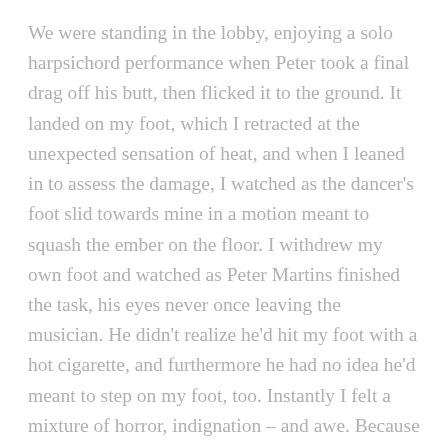We were standing in the lobby, enjoying a solo harpsichord performance when Peter took a final drag off his butt, then flicked it to the ground. It landed on my foot, which I retracted at the unexpected sensation of heat, and when I leaned in to assess the damage, I watched as the dancer's foot slid towards mine in a motion meant to squash the ember on the floor. I withdrew my own foot and watched as Peter Martins finished the task, his eyes never once leaving the musician. He didn't realize he'd hit my foot with a hot cigarette, and furthermore he had no idea he'd meant to step on my foot, too. Instantly I felt a mixture of horror, indignation – and awe. Because I was, after all, a thirteen year old girl standing two feet from one of the most exquisitely formed men on the planet. I wanted to be miffed, I'd wanted at the very least an apology. But knowing none was coming, the moment had passed and the point was moot. I decided instead to take